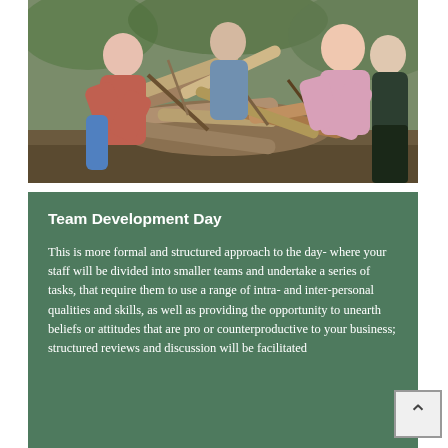[Figure (photo): Group of people outdoors handling and stacking a large pile of cut logs and branches in a woodland or garden setting. Several people are visible, wearing casual clothes.]
Team Development Day
This is more formal and structured approach to the day- where your staff will be divided into smaller teams and undertake a series of tasks, that require them to use a range of intra- and inter-personal qualities and skills, as well as providing the opportunity to unearth beliefs or attitudes that are pro or counterproductive to your business; structured reviews and discussion will be facilitated